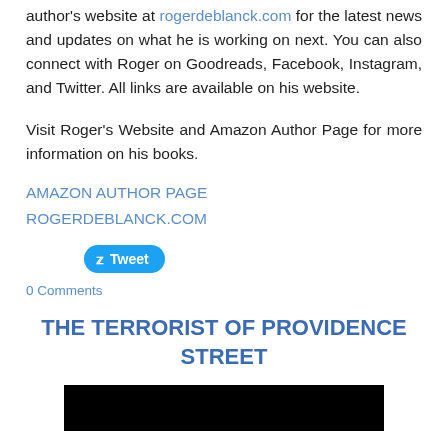author's website at rogerdeblanck.com for the latest news and updates on what he is working on next. You can also connect with Roger on Goodreads, Facebook, Instagram, and Twitter. All links are available on his website.
Visit Roger's Website and Amazon Author Page for more information on his books.
AMAZON AUTHOR PAGE
ROGERDEBLANCK.COM
[Figure (other): Tweet button — blue rounded rectangle with Twitter bird icon and 'Tweet' text]
0 Comments
THE TERRORIST OF PROVIDENCE STREET
[Figure (photo): Black rectangular image, partially visible at bottom of page]